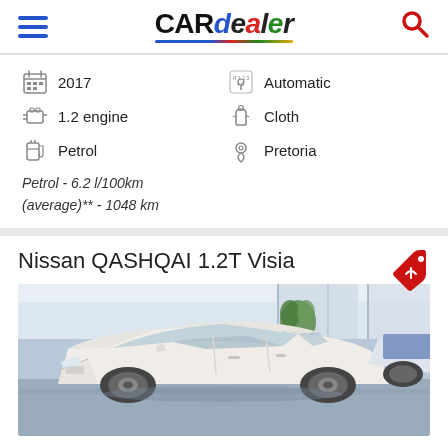CARdealer
2017
Automatic
1.2 engine
Cloth
Petrol
Pretoria
Petrol - 6.2 l/100km (average)** - 1048 km
Nissan QASHQAI 1.2T Visia
[Figure (photo): White Nissan QASHQAI 1.2T Visia SUV parked inside a car dealership showroom, with other vehicles and a plant visible in the background.]